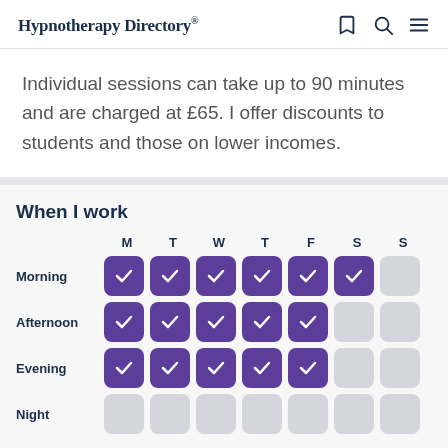Hypnotherapy Directory®
Individual sessions can take up to 90 minutes and are charged at £65. I offer discounts to students and those on lower incomes.
When I work
|  | M | T | W | T | F | S | S |
| --- | --- | --- | --- | --- | --- | --- | --- |
| Morning | ✓ | ✓ | ✓ | ✓ | ✓ | ✓ |  |
| Afternoon | ✓ | ✓ | ✓ | ✓ | ✓ |  |  |
| Evening | ✓ | ✓ | ✓ | ✓ | ✓ |  |  |
| Night |  |  |  |  |  |  |  |